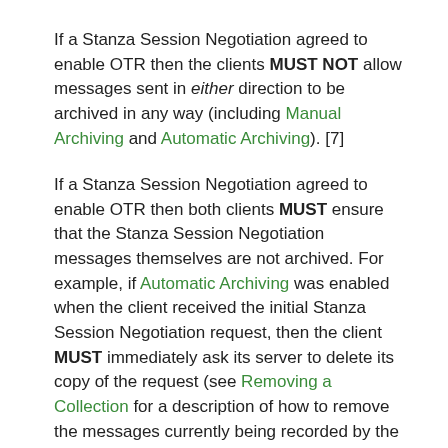If a Stanza Session Negotiation agreed to enable OTR then the clients MUST NOT allow messages sent in either direction to be archived in any way (including Manual Archiving and Automatic Archiving). [7]
If a Stanza Session Negotiation agreed to enable OTR then both clients MUST ensure that the Stanza Session Negotiation messages themselves are not archived. For example, if Automatic Archiving was enabled when the client received the initial Stanza Session Negotiation request, then the client MUST immediately ask its server to delete its copy of the request (see Removing a Collection for a description of how to remove the messages currently being recorded by the server).
4. Collections: The Chat Element